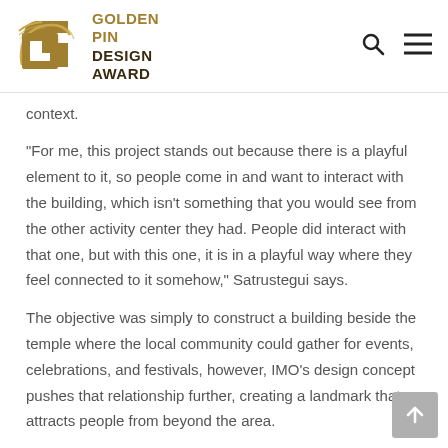GOLDEN PIN DESIGN AWARD
context.
“For me, this project stands out because there is a playful element to it, so people come in and want to interact with the building, which isn’t something that you would see from the other activity center they had. People did interact with that one, but with this one, it is in a playful way where they feel connected to it somehow,” Satrustegui says.
The objective was simply to construct a building beside the temple where the local community could gather for events, celebrations, and festivals, however, IMO’s design concept pushes that relationship further, creating a landmark that attracts people from beyond the area.